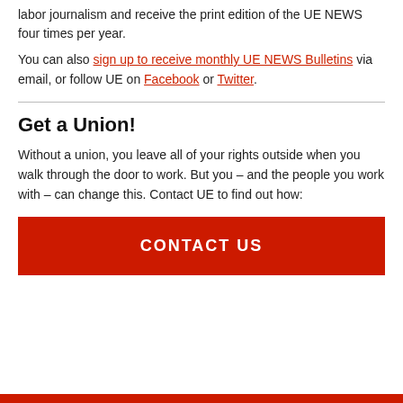labor journalism and receive the print edition of the UE NEWS four times per year.
You can also sign up to receive monthly UE NEWS Bulletins via email, or follow UE on Facebook or Twitter.
Get a Union!
Without a union, you leave all of your rights outside when you walk through the door to work. But you – and the people you work with – can change this. Contact UE to find out how:
CONTACT US